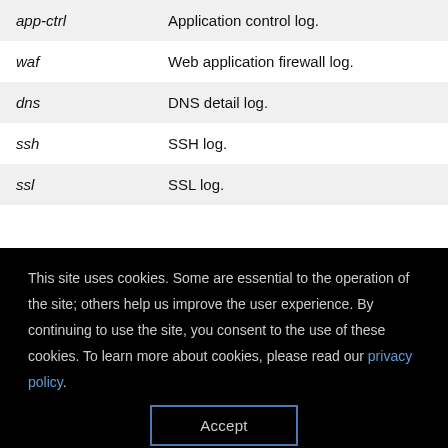| app-ctrl | Application control log. |
| waf | Web application firewall log. |
| dns | DNS detail log. |
| ssh | SSH log. |
| ssl | SSL log. |
This site uses cookies. Some are essential to the operation of the site; others help us improve the user experience. By continuing to use the site, you consent to the use of these cookies. To learn more about cookies, please read our privacy policy.